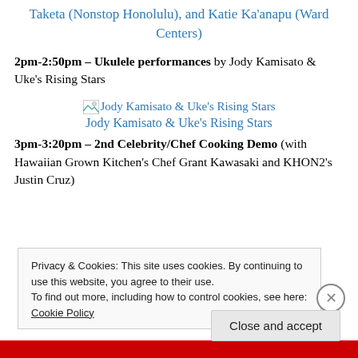Taketa (Nonstop Honolulu), and Katie Ka'anapu (Ward Centers)
2pm-2:50pm – Ukulele performances by Jody Kamisato & Uke's Rising Stars
[Figure (photo): Image placeholder for Jody Kamisato & Uke's Rising Stars]
Jody Kamisato & Uke's Rising Stars
3pm-3:20pm – 2nd Celebrity/Chef Cooking Demo (with Hawaiian Grown Kitchen's Chef Grant Kawasaki and KHON2's Justin Cruz)
Privacy & Cookies: This site uses cookies. By continuing to use this website, you agree to their use.
To find out more, including how to control cookies, see here: Cookie Policy